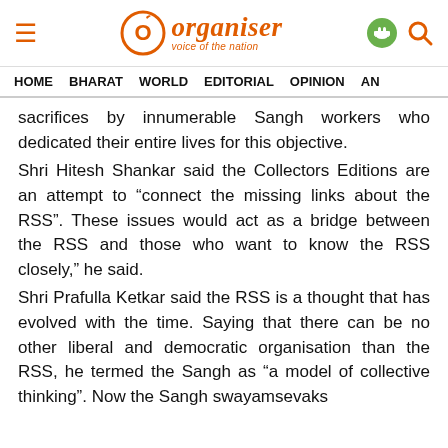Organiser — voice of the nation
HOME   BHARAT   WORLD   EDITORIAL   OPINION   ANA
sacrifices by innumerable Sangh workers who dedicated their entire lives for this objective.
Shri Hitesh Shankar said the Collectors Editions are an attempt to “connect the missing links about the RSS”. These issues would act as a bridge between the RSS and those who want to know the RSS closely,” he said.
Shri Prafulla Ketkar said the RSS is a thought that has evolved with the time. Saying that there can be no other liberal and democratic organisation than the RSS, he termed the Sangh as “a model of collective thinking”. Now the Sangh swayamsevaks